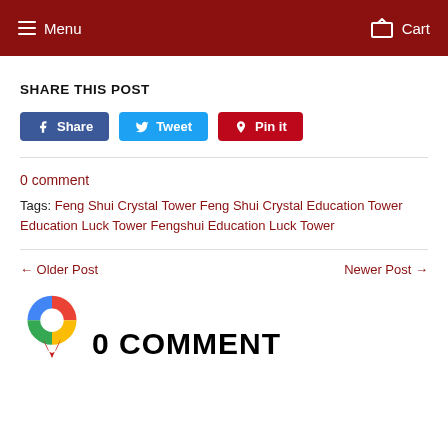Menu  Cart
SHARE THIS POST
Share  Tweet  Pin it
0 comment
Tags: Feng Shui Crystal Tower Feng Shui Crystal Education Tower Education Luck Tower Fengshui Education Luck Tower
← Older Post
Newer Post →
[Figure (logo): Google Maps location pin icon in red, blue, green and yellow colors]
0 COMMENT